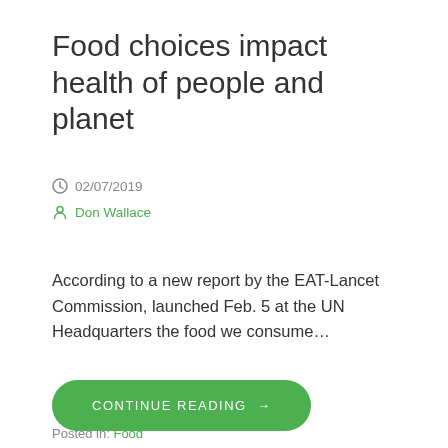Food choices impact health of people and planet
02/07/2019
Don Wallace
According to a new report by the EAT-Lancet Commission, launched Feb. 5 at the UN Headquarters the food we consume…
CONTINUE READING →
Posted in: Food